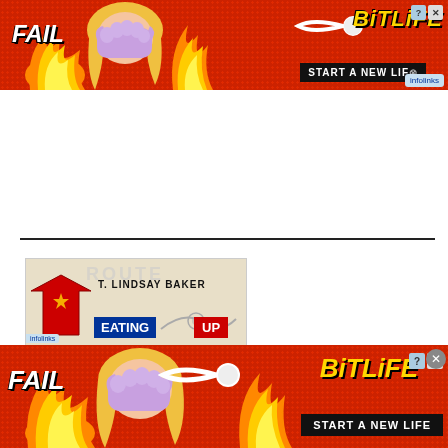[Figure (illustration): BitLife game advertisement banner at top with red background, FAIL text, animated character, flames, BitLife logo, START A NEW LIFE button, infolinks badge]
[Figure (illustration): Book advertisement for 'Eating Up Route 66' by T. Lindsay Baker with red arrow shape and route map background]
[Figure (illustration): BitLife game advertisement banner at bottom repeating the same ad as the top banner]